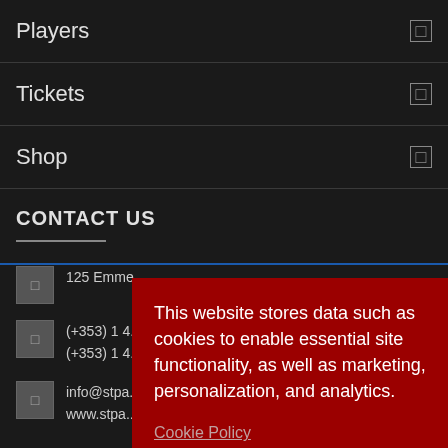Players
Tickets
Shop
CONTACT US
125 Emme...
(+353) 1 4...
(+353) 1 4...
info@stpa...
www.stpa...
This website stores data such as cookies to enable essential site functionality, as well as marketing, personalization, and analytics.
Cookie Policy
Accept
Deny